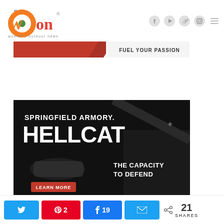[Figure (logo): The WON (Women's Outdoor News) logo with orange circle and green dot, text 'women's outdoor news' below]
[Figure (infographic): Social media icons: Facebook, YouTube, Pinterest, Instagram, and hamburger menu]
[Figure (photo): Banner ad: red background with lines and text 'FUEL YOUR PASSION']
[Figure (photo): Springfield Armory Hellcat advertisement. Black background with white text 'SPRINGFIELD ARMORY. HELLCAT' and 'THE CAPACITY TO DEFEND'. Shows a handgun image and people in background. Red button 'LEARN MORE'.]
[Figure (infographic): Social share bar with Twitter button, Pin button showing count 2, Share button showing count 19, Email button, and total 21 SHARES]